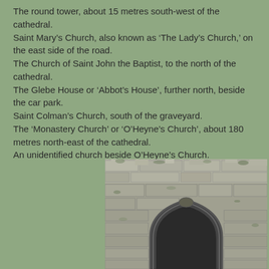The round tower, about 15 metres south-west of the cathedral.
Saint Mary’s Church, also known as ‘The Lady’s Church,’ on the east side of the road.
The Church of Saint John the Baptist, to the north of the cathedral.
The Glebe House or ‘Abbot’s House’, further north, beside the car park.
Saint Colman’s Church, south of the graveyard.
The ‘Monastery Church’ or ‘O’Heyne’s Church’, about 180 metres north-east of the cathedral.
An unidentified church beside O’Heyne’s Church.
[Figure (photo): Close-up photograph of a stone wall with a pointed Gothic arch opening, showing weathered gray limestone masonry with moss and vegetation growing in the crevices.]